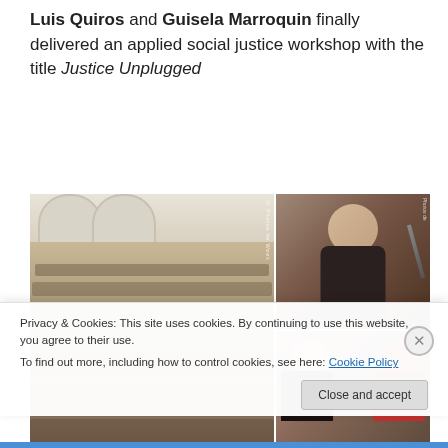Luis Quiros and Guisela Marroquin finally delivered an applied social justice workshop with the title Justice Unplugged
[Figure (photo): Three photos: left large photo shows audience seated in a historic hall with arched ceilings attending a workshop; top-right photo shows a woman speaker with glasses and a yellow pendant at a microphone; bottom-right photo shows two women seated at a panel table.]
Privacy & Cookies: This site uses cookies. By continuing to use this website, you agree to their use.
To find out more, including how to control cookies, see here: Cookie Policy
Close and accept